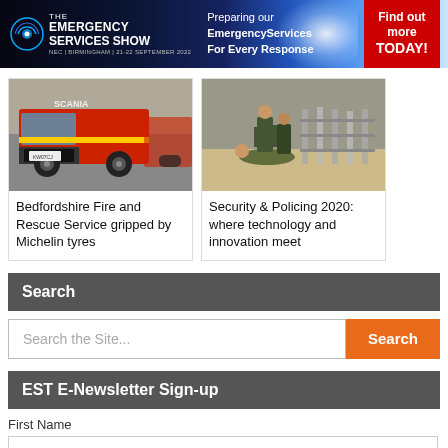[Figure (infographic): The Emergency Services Show banner ad — NEC Birmingham 21-22 September 2022. 'Preparing our EmergencyServices For Every Response' with red 'Find out more TODAY!' CTA button.]
[Figure (photo): Front view of a red Scania fire engine (Bedfordshire Fire and Rescue Service)]
Bedfordshire Fire and Rescue Service gripped by Michelin tyres
[Figure (photo): Security personnel or police handling a person on the ground near metal crowd control barriers]
Security & Policing 2020: where technology and innovation meet
Search
Search the Site...
EST E-Newsletter Sign-up
First Name